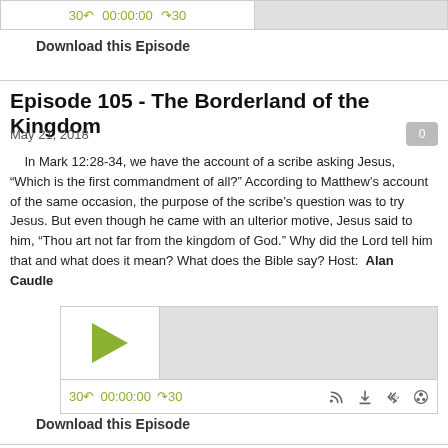[Figure (screenshot): Audio player widget showing controls: rewind 30s, 00:00:00 timestamp, forward 30s, and a progress bar area]
Download this Episode
Episode 105 - The Borderland of the Kingdom
May 21, 2018
In Mark 12:28-34, we have the account of a scribe asking Jesus, "Which is the first commandment of all?" According to Matthew's account of the same occasion, the purpose of the scribe's question was to try Jesus. But even though he came with an ulterior motive, Jesus said to him, "Thou art not far from the kingdom of God." Why did the Lord tell him that and what does it mean? What does the Bible say? Host:  Alan Caudle
[Figure (screenshot): Audio player widget with play button and controls: rewind 30s, 00:00:00, forward 30s, RSS feed, download, embed, and share icons]
Download this Episode